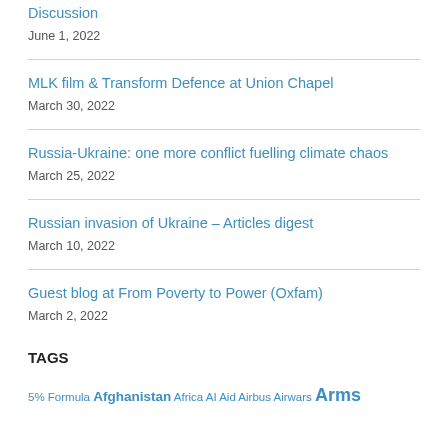Discussion
June 1, 2022
MLK film & Transform Defence at Union Chapel
March 30, 2022
Russia-Ukraine: one more conflict fuelling climate chaos
March 25, 2022
Russian invasion of Ukraine – Articles digest
March 10, 2022
Guest blog at From Poverty to Power (Oxfam)
March 2, 2022
TAGS
5% Formula Afghanistan Africa AI Aid Airbus Airwars Arms